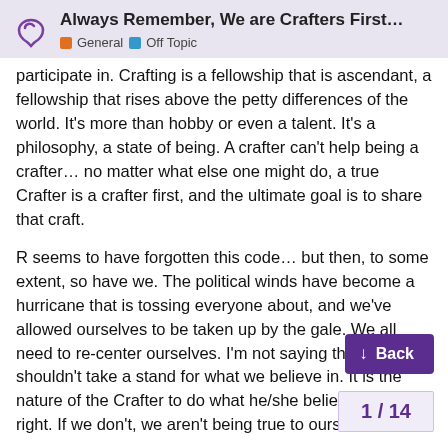Always Remember, We are Crafters First... General Off Topic
participate in. Crafting is a fellowship that is ascendant, a fellowship that rises above the petty differences of the world. It’s more than hobby or even a talent. It’s a philosophy, a state of being. A crafter can’t help being a crafter… no matter what else one might do, a true Crafter is a crafter first, and the ultimate goal is to share that craft.
R seems to have forgotten this code… but then, to some extent, so have we. The political winds have become a hurricane that is tossing everyone about, and we’ve allowed ourselves to be taken up by the gale. We all need to re-center ourselves. I’m not saying that we shouldn’t take a stand for what we believe in. It is the nature of the Crafter to do what he/she believes to be right. If we don’t, we aren’t being true to ourselves.
But there is a difference between taking a stand, and drawing a line in the sand. By taking a sta acknowledge that a wrong has been don